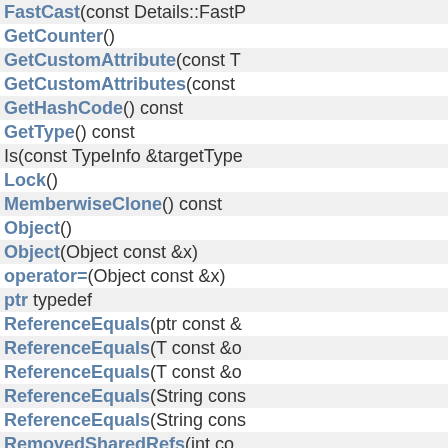FastCast(const Details::FastP...
GetCounter()
GetCustomAttribute(const T...
GetCustomAttributes(const...
GetHashCode() const
GetType() const
Is(const TypeInfo &targetType...
Lock()
MemberwiseClone() const
Object()
Object(Object const &x)
operator=(Object const &x)
ptr typedef
ReferenceEquals(ptr const &...
ReferenceEquals(T const &o...
ReferenceEquals(T const &o...
ReferenceEquals(String cons...
ReferenceEquals(String cons...
RemovedSharedRefs(int co...